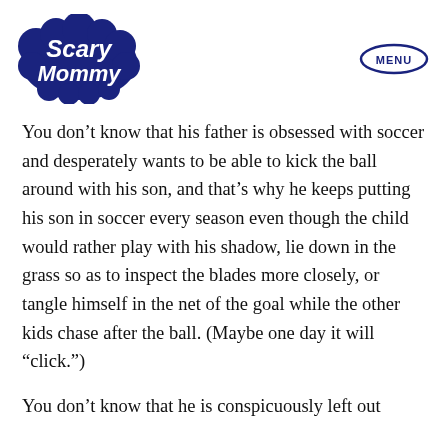[Figure (logo): Scary Mommy logo in dark navy blue with bubbly/cloud-shaped lettering]
You don’t know that his father is obsessed with soccer and desperately wants to be able to kick the ball around with his son, and that’s why he keeps putting his son in soccer every season even though the child would rather play with his shadow, lie down in the grass so as to inspect the blades more closely, or tangle himself in the net of the goal while the other kids chase after the ball. (Maybe one day it will “click.”)
You don’t know that he is conspicuously left out